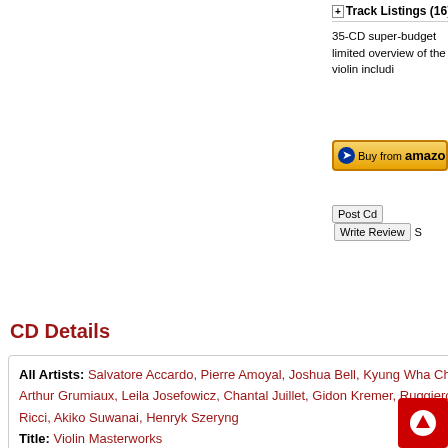Track Listings (16) - Di...
35-CD super-budget limited overview of the violin includi...
[Figure (other): Buy from amazon.com button]
Post Cd  Write Review  S
CD Details
| All Artists: | Salvatore Accardo, Pierre Amoyal, Joshua Bell, Kyung Wha Ch... Arthur Grumiaux, Leila Josefowicz, Chantal Juillet, Gidon Kremer, Ruggiero Ricci, Akiko Suwanai, Henryk Szeryng |
| Title: | Violin Masterworks |
| Members Wishing: | 0 |
| Total Copies: | 0 |
| Label: | Decca |
| Original Release Date: | 1/1/2009 |
| Re-Release Date: | 2/24/2009 |
| Album Type: | Box set |
| Genres: | Dance & Electronic, Classical |
| Styles: | Chamber Music, Forms & Genres, Concertos, Serenades & Divertimentos, Symphonies |